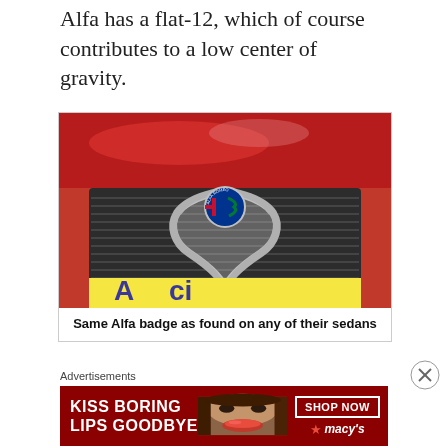Alfa has a flat-12, which of course contributes to a low center of gravity.
[Figure (photo): Close-up photograph of an Alfa Romeo car grille with the iconic heart-shaped badge/logo in chrome, mounted on a red car body. Below the grille is a yellow banner with partial text visible.]
Same Alfa badge as found on any of their sedans
Advertisements
[Figure (other): Advertisement banner for Macy's cosmetics. Red background with white text reading 'KISS BORING LIPS GOODBYE' on the left, a woman's face with red lips in the center, and a 'SHOP NOW' button with the Macy's star logo on the right.]